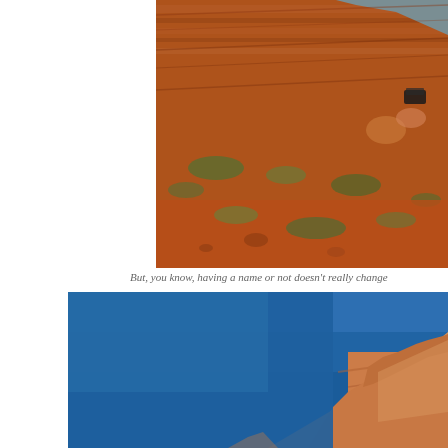[Figure (photo): Red rock desert landscape with a steep rust-colored rocky hillside covered in sparse desert shrubs and scrubby vegetation. A vehicle is visible on the slope in the upper right area. Clear blue sky visible at the top.]
But, you know, having a name or not doesn't really change
[Figure (photo): Red sandstone cliff formation against a deep blue sky. The layered rock face is illuminated by warm sunlight, showing the stratified geological features of the canyon wall.]